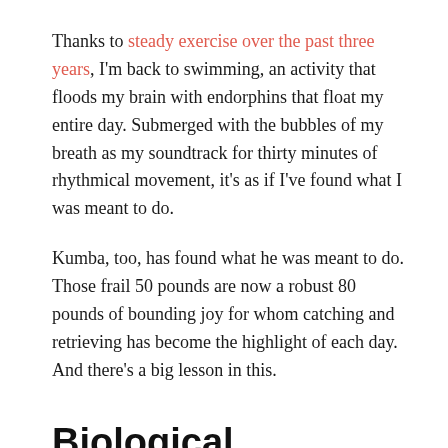Thanks to steady exercise over the past three years, I'm back to swimming, an activity that floods my brain with endorphins that float my entire day. Submerged with the bubbles of my breath as my soundtrack for thirty minutes of rhythmical movement, it's as if I've found what I was meant to do.
Kumba, too, has found what he was meant to do. Those frail 50 pounds are now a robust 80 pounds of bounding joy for whom catching and retrieving has become the highlight of each day. And there's a big lesson in this.
Biological fulfillment
As a Labrador retriever, it's in Kumba's DNA to feel